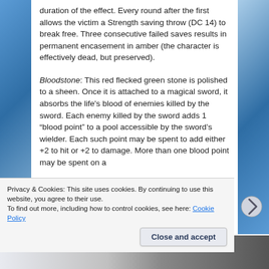duration of the effect. Every round after the first allows the victim a Strength saving throw (DC 14) to break free. Three consecutive failed saves results in permanent encasement in amber (the character is effectively dead, but preserved).
Bloodstone: This red flecked green stone is polished to a sheen. Once it is attached to a magical sword, it absorbs the life's blood of enemies killed by the sword. Each enemy killed by the sword adds 1 “blood point” to a pool accessible by the sword’s wielder. Each such point may be spent to add either +2 to hit or +2 to damage. More than one blood point may be spent on a
Privacy & Cookies: This site uses cookies. By continuing to use this website, you agree to their use.
To find out more, including how to control cookies, see here: Cookie Policy
Close and accept